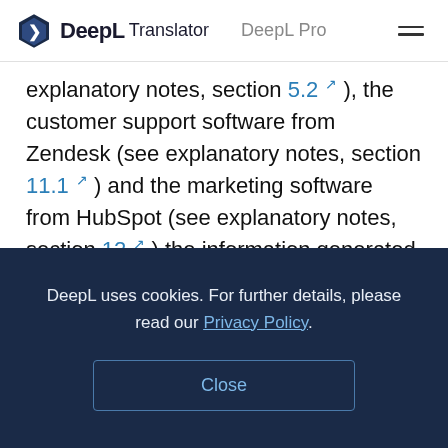DeepL Translator   DeepL Pro
explanatory notes, section 5.2 ), the customer support software from Zendesk (see explanatory notes, section 11.1 ) and the marketing software from HubSpot (see explanatory notes, section 12 ) the information generated by cookies and web storage objects is transmitted to servers within the EU and stored exclusively there. Data is not passed on to third parties.
DeepL uses cookies. For further details, please read our Privacy Policy.
Close